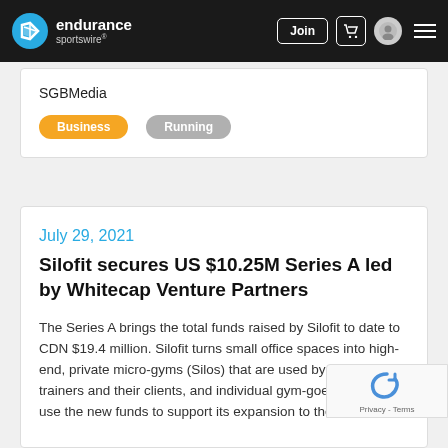endurance sportswire — navigation bar with Join button
SGBMedia
Business
Running
July 29, 2021
Silofit secures US $10.25M Series A led by Whitecap Venture Partners
The Series A brings the total funds raised by Silofit to date to CDN $19.4 million. Silofit turns small office spaces into high-end, private micro-gyms (Silos) that are used by fitness trainers and their clients, and individual gym-goers. Silofit will use the new funds to support its expansion to the…